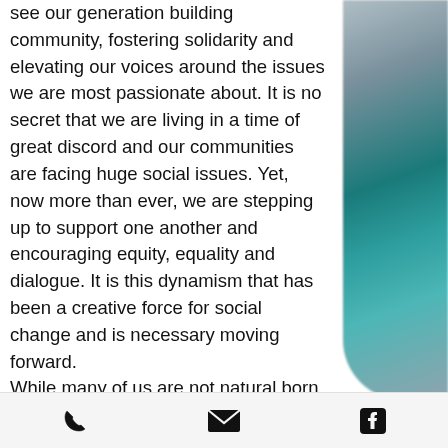see our generation building community, fostering solidarity and elevating our voices around the issues we are most passionate about. It is no secret that we are living in a time of great discord and our communities are facing huge social issues. Yet, now more than ever, we are stepping up to support one another and encouraging equity, equality and dialogue. It is this dynamism that has been a creative force for social change and is necessary moving forward.
While many of us are not natural born leaders, leadership skills can be created and perfected by mere steps.
[Figure (photo): Blurred teal/dark cyan spherical object against grey background on the right side of the page]
Phone icon | Email icon | Facebook icon